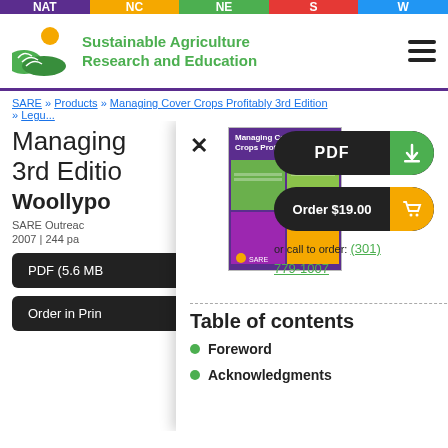NAT | NC | NE | S | W
[Figure (logo): SARE logo with green hills and sun]
Sustainable Agriculture Research and Education
SARE » Products » Managing Cover Crops Profitably 3rd Edition » Legume...
Managing Cover Crops Profitably 3rd Edition
Woollypo...
SARE Outreach
2007 | 244 pa...
PDF (5.6 MB...
Order in Print...
[Figure (photo): Book cover of Managing Cover Crops Profitably showing agricultural scenes]
PDF
Order $19.00
or call to order: (301) 779-1007
Table of contents
Foreword
Acknowledgments